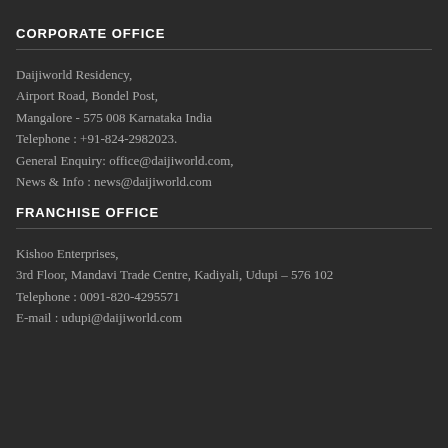CORPORATE OFFICE
Daijiworld Residency,
Airport Road, Bondel Post,
Mangalore - 575 008 Karnataka India
Telephone : +91-824-2982023.
General Enquiry: office@daijiworld.com,
News & Info : news@daijiworld.com
FRANCHISE OFFICE
Kishoo Enterprises,
3rd Floor, Mandavi Trade Centre, Kadiyali, Udupi – 576 102
Telephone : 0091-820-4295571
E-mail : udupi@daijiworld.com